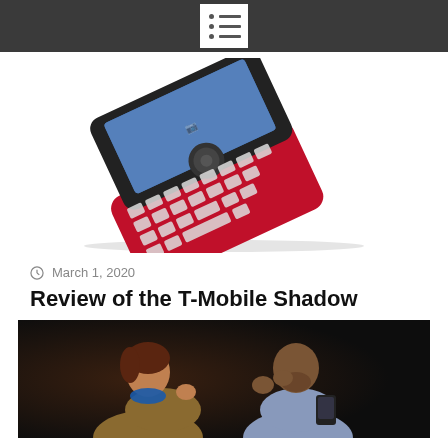[Figure (photo): Red and black T-Mobile Shadow slider phone with QWERTY keyboard, photographed at an angle showing the screen with a photo displayed]
March 1, 2020
Review of the T-Mobile Shadow
[Figure (photo): Two people looking down at a mobile device, a woman with blue headphones around her neck and a man who appears to be checking a smart wristband or phone]